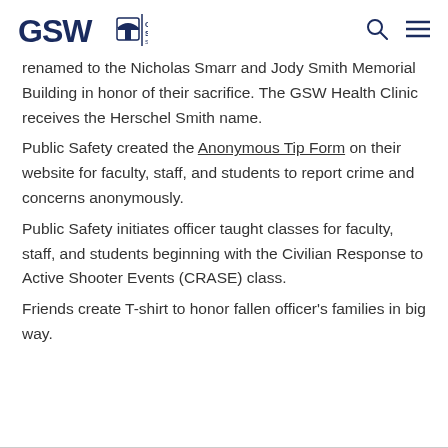GSW Georgia Southwestern State University
renamed to the Nicholas Smarr and Jody Smith Memorial Building in honor of their sacrifice. The GSW Health Clinic receives the Herschel Smith name.
Public Safety created the Anonymous Tip Form on their website for faculty, staff, and students to report crime and concerns anonymously.
Public Safety initiates officer taught classes for faculty, staff, and students beginning with the Civilian Response to Active Shooter Events (CRASE) class.
Friends create T-shirt to honor fallen officer's families in big way.